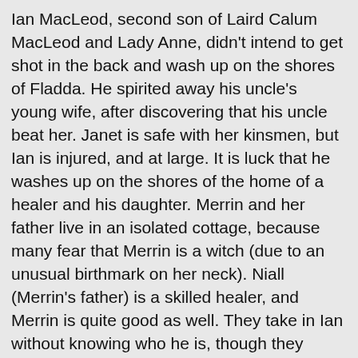Ian MacLeod, second son of Laird Calum MacLeod and Lady Anne, didn't intend to get shot in the back and wash up on the shores of Fladda. He spirited away his uncle's young wife, after discovering that his uncle beat her. Janet is safe with her kinsmen, but Ian is injured, and at large. It is luck that he washes up on the shores of the home of a healer and his daughter. Merrin and her father live in an isolated cottage, because many fear that Merrin is a witch (due to an unusual birthmark on her neck). Niall (Merrin's father) is a skilled healer, and Merrin is quite good as well. They take in Ian without knowing who he is, though they suspect he is a well-bred Highlander. Unfortunately for all three of them, Ian's uncle won't stop hunting Ian until he knows that Ian is dead. Ian, Merrin, and Niall are forced to flee for their lives. Merrin has never known life outside Fladda, but now she must give up everything to stay alive.